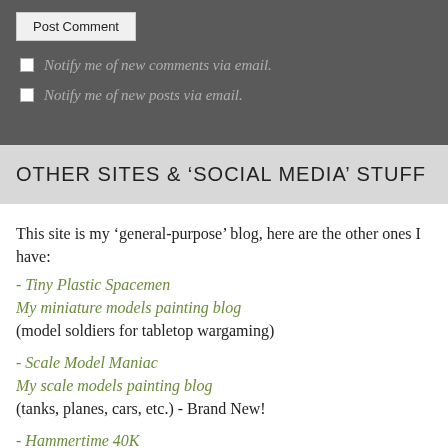Post Comment
Notify me of new comments via email.
Notify me of new posts via email.
OTHER SITES & 'SOCIAL MEDIA' STUFF
This site is my 'general-purpose' blog, here are the other ones I have:
- Tiny Plastic Spacemen
My miniature models painting blog
(model soldiers for tabletop wargaming)
- Scale Model Maniac
My scale models painting blog
(tanks, planes, cars, etc.) - Brand New!
- Hammertime 40K